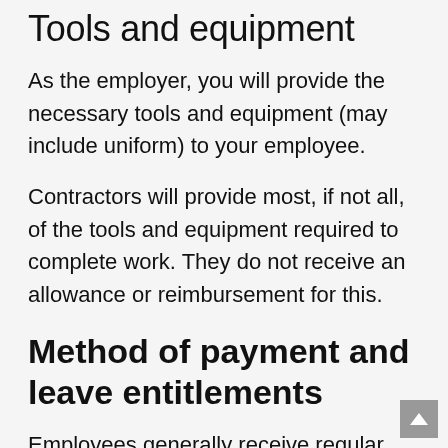Tools and equipment
As the employer, you will provide the necessary tools and equipment (may include uniform) to your employee.
Contractors will provide most, if not all, of the tools and equipment required to complete work. They do not receive an allowance or reimbursement for this.
Method of payment and leave entitlements
Employees generally receive regular